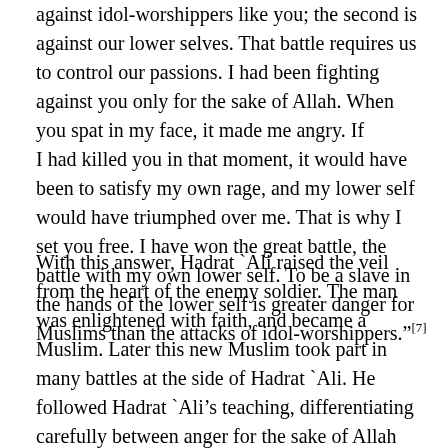Hadrat `Ali answered, "We fight two kinds of battles. The first is against idol-worshippers like you; the second is against our lower selves. That battle requires us to control our passions. I had been fighting against you only for the sake of Allah. When you spat in my face, it made me angry. If I had killed you in that moment, it would have been to satisfy my own rage, and my lower self would have triumphed over me. That is why I set you free. I have won the great battle, the battle with my own lower self. To be a slave in the hands of the lower self is greater danger for Muslims than the attacks of idol-worshippers."[7]
With this answer, Hadrat `Ali raised the veil from the heart of the enemy soldier. The man was enlightened with faith, and became a Muslim. Later this new Muslim took part in many battles at the side of Hadrat `Ali. He followed Hadrat `Ali's teaching, differentiating carefully between anger for the sake of Allah and anger for the sake of one's own passions. He